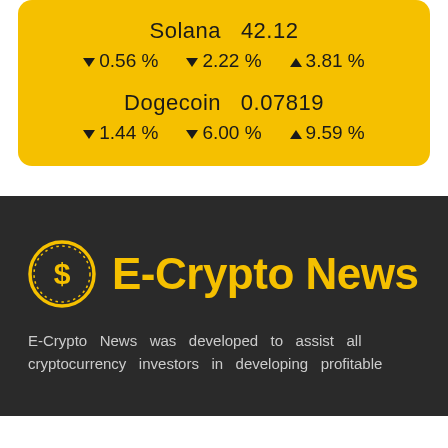[Figure (infographic): Yellow card showing Solana price 42.12 with percentage changes -0.56%, -2.22%, +3.81%, and Dogecoin price 0.07819 with percentage changes -1.44%, -6.00%, +9.59%]
[Figure (logo): E-Crypto News logo with yellow dollar coin icon and bold yellow text on dark background]
E-Crypto News was developed to assist all cryptocurrency investors in developing profitable